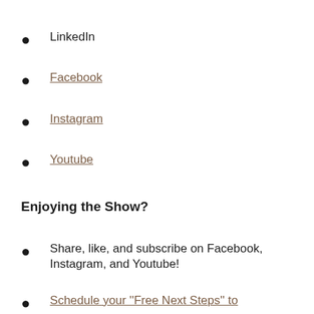LinkedIn
Facebook
Instagram
Youtube
Enjoying the Show?
Share, like, and subscribe on Facebook, Instagram, and Youtube!
Schedule your ''Free Next Steps'' to